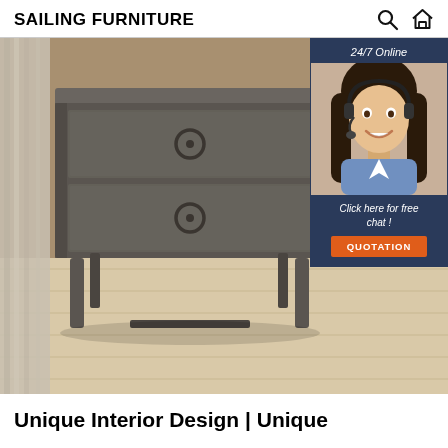SAILING FURNITURE
[Figure (photo): Grey two-drawer nightstand/side table with ring pulls on tapered legs, photographed on light wood floor in a bedroom setting. Overlay in top-right corner shows a customer service agent with headset and text '24/7 Online', 'Click here for free chat!', and an orange 'QUOTATION' button.]
Unique Interior Design | Unique